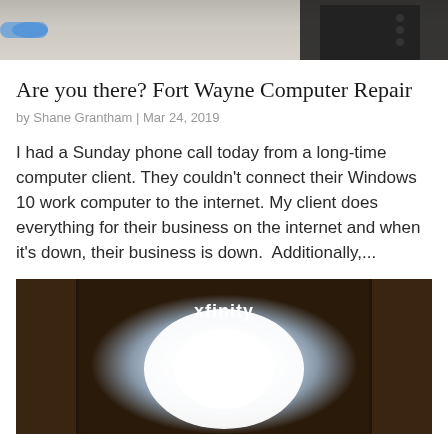[Figure (photo): Top portion of a photo showing what appears to be a device on a carpeted surface, with a blue cable visible on the left side]
Are you there? Fort Wayne Computer Repair
by Shane Grantham | Mar 24, 2019
I had a Sunday phone call today from a long-time computer client. They couldn't connect their Windows 10 work computer to the internet. My client does everything for their business on the internet and when it's down, their business is down.  Additionally,...
[Figure (photo): Photo of an Xfinity modem/router device illuminated from within, showing bright white light, placed between what appears to be wooden furniture]